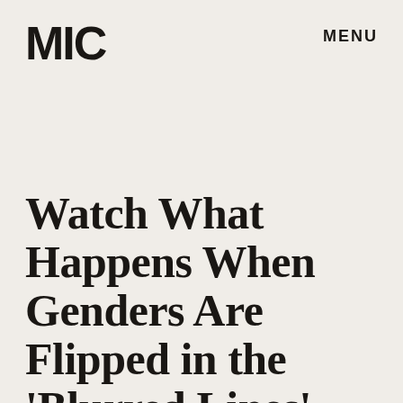MIC
MENU
Watch What Happens When Genders Are Flipped in the 'Blurred Lines' Video